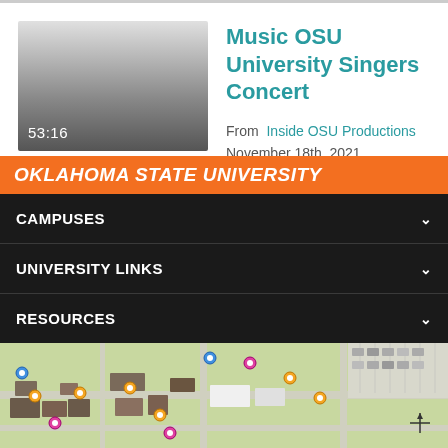[Figure (screenshot): Video thumbnail showing gradient from light gray to dark gray, with duration '53:16' in white text at bottom left]
Music OSU University Singers Concert
From  Inside OSU Productions
November 18th, 2021
Load More
OKLAHOMA STATE UNIVERSITY
CAMPUSES
UNIVERSITY LINKS
RESOURCES
[Figure (map): Campus map aerial view showing buildings and pathways with colored location markers]